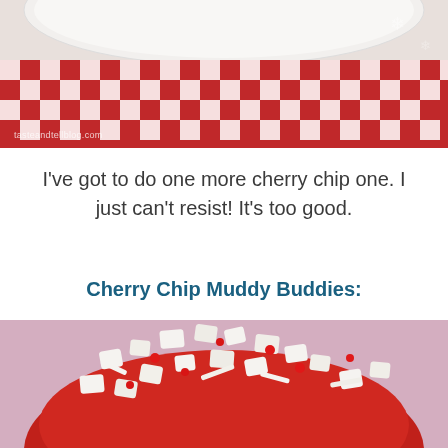[Figure (photo): Top portion of a food photo showing a bowl with red and white checkered cloth/napkin background, with a tasteandtellblog.com watermark in the lower left corner]
I've got to do one more cherry chip one. I just can't resist! It's too good.
Cherry Chip Muddy Buddies:
[Figure (photo): Close-up photo of Cherry Chip Muddy Buddies — white powdered sugar-coated cereal snack mix with red candy pieces in a red bowl on a pink/lavender background]